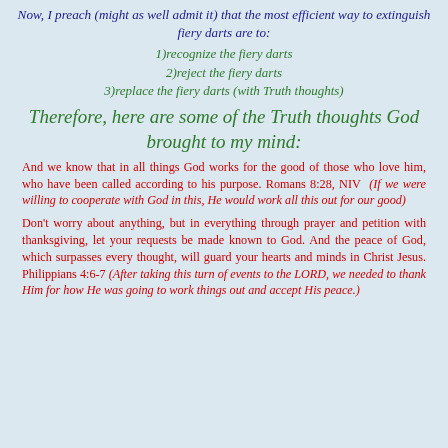Now, I preach (might as well admit it) that the most efficient way to extinguish fiery darts are to:
1)recognize the fiery darts
2)reject the fiery darts
3)replace the fiery darts (with Truth thoughts)
Therefore, here are some of the Truth thoughts God brought to my mind:
And we know that in all things God works for the good of those who love him, who have been called according to his purpose. Romans 8:28, NIV (If we were willing to cooperate with God in this, He would work all this out for our good)
Don't worry about anything, but in everything through prayer and petition with thanksgiving, let your requests be made known to God. And the peace of God, which surpasses every thought, will guard your hearts and minds in Christ Jesus. Philippians 4:6-7 (After taking this turn of events to the LORD, we needed to thank Him for how He was going to work things out and accept His peace.)